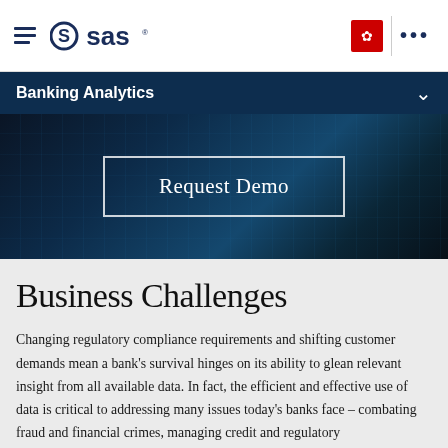SAS | Banking Analytics
[Figure (screenshot): Dark blue hero banner with 'Request Demo' button in white outlined box]
Business Challenges
Changing regulatory compliance requirements and shifting customer demands mean a bank's survival hinges on its ability to glean relevant insight from all available data. In fact, the efficient and effective use of data is critical to addressing many issues today's banks face – combating fraud and financial crimes, managing credit and regulatory